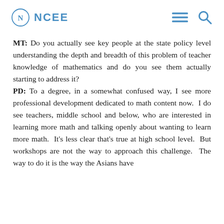NCEE
MT: Do you actually see key people at the state policy level understanding the depth and breadth of this problem of teacher knowledge of mathematics and do you see them actually starting to address it? PD: To a degree, in a somewhat confused way, I see more professional development dedicated to math content now.  I do see teachers, middle school and below, who are interested in learning more math and talking openly about wanting to learn more math.  It's less clear that's true at high school level.  But workshops are not the way to approach this challenge.  The way to do it is the way the Asians have done it. It is not the way to solve the problem.